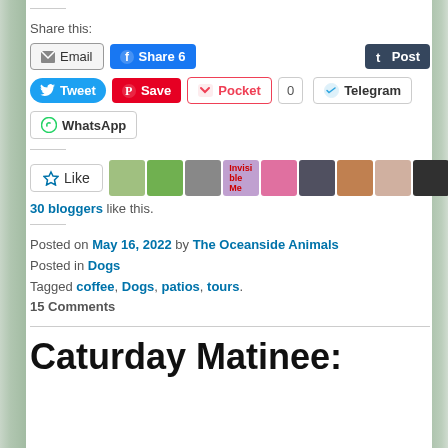Share this:
[Figure (screenshot): Row of social share buttons: Email, Share 6 (Facebook), Post (Tumblr)]
[Figure (screenshot): Row of social share buttons: Tweet, Save (Pinterest), Pocket, 0, Telegram]
[Figure (screenshot): WhatsApp share button]
[Figure (screenshot): Like button with star icon and 10 blogger avatars]
30 bloggers like this.
Posted on May 16, 2022 by The Oceanside Animals
Posted in Dogs
Tagged coffee, Dogs, patios, tours.
15 Comments
Caturday Matinee: